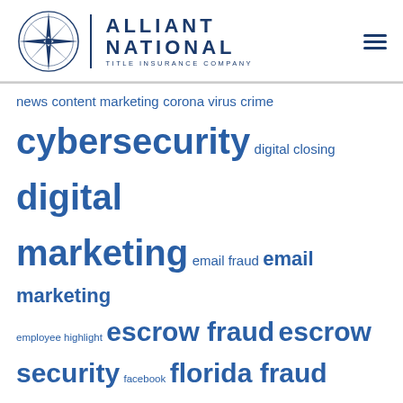[Figure (logo): Alliant National Title Insurance Company logo with compass rose and text]
[Figure (infographic): Tag cloud with insurance and marketing related terms in various sizes, colored in blue]
news content marketing corona virus crime cybersecurity digital closing digital marketing email fraud email marketing employee highlight escrow fraud escrow security facebook florida fraud google leadership marketing strategy online reviews premium content press release PR news roundup public relations real estate reputation social marketing social media Southwest Region technology texas title agents title insurance underwriting wire fraud